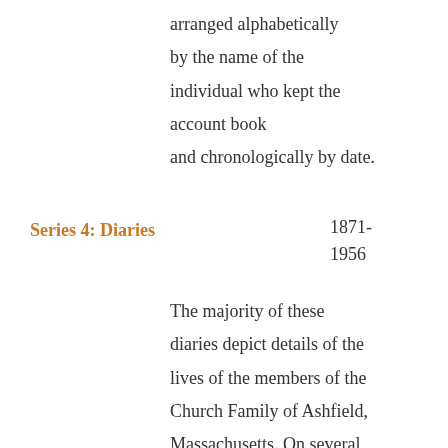arranged alphabetically by the name of the individual who kept the account book and chronologically by date.
Series 4: Diaries
1871-1956
The majority of these diaries depict details of the lives of the members of the Church Family of Ashfield, Massachusetts. On several occasions, writing in the diary was taken over by another